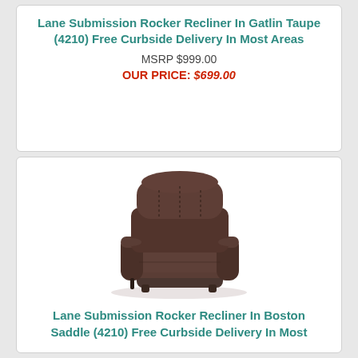Lane Submission Rocker Recliner In Gatlin Taupe (4210) Free Curbside Delivery In Most Areas
MSRP $999.00
OUR PRICE: $699.00
[Figure (photo): Dark brown/chocolate upholstered rocker recliner chair, tufted fabric, padded arms, viewed from a three-quarter angle]
Lane Submission Rocker Recliner In Boston Saddle (4210) Free Curbside Delivery In Most